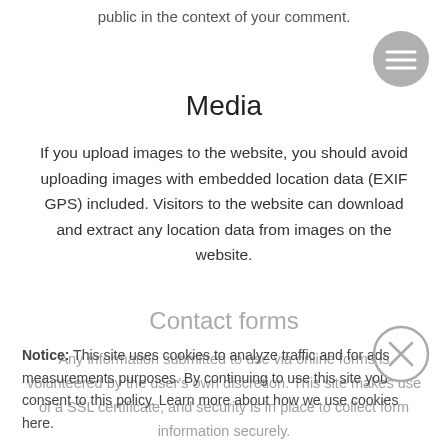public in the context of your comment.
[Figure (illustration): Circular hamburger menu button with three horizontal lines]
Media
If you upload images to the website, you should avoid uploading images with embedded location data (EXIF GPS) included. Visitors to the website can download and extract any location data from images on the website.
Contact forms
Any information submitted to use via online forms is volunteered by the user's own discretion. This site makes use of a SSL certificate, and security is in place to collect form information securely.
Notice: This site uses cookies to analyze traffic and for ads measurements purposes. By continuing to use this site you consent to this policy. Learn more about how we use cookies here.
[Figure (illustration): Circular close (X) button]